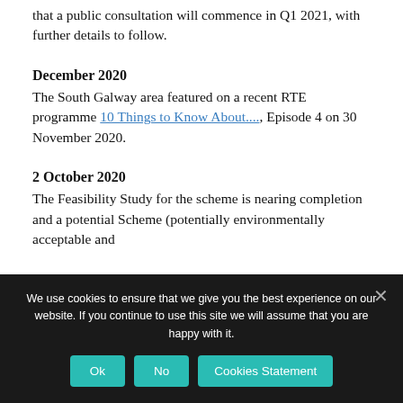that a public consultation will commence in Q1 2021, with further details to follow.
December 2020
The South Galway area featured on a recent RTE programme 10 Things to Know About...., Episode 4 on 30 November 2020.
2 October 2020
The Feasibility Study for the scheme is nearing completion and a potential Scheme (potentially environmentally acceptable and
We use cookies to ensure that we give you the best experience on our website. If you continue to use this site we will assume that you are happy with it.